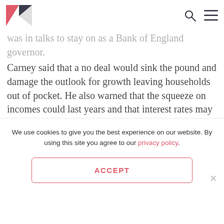[Logo: NW] [Search icon] [Menu icon]
that a a no-deal will put families' finances under pressure for several years as he confirmed that he was in talks to stay on as a Bank of England governor.
Carney said that a no deal would sink the pound and damage the outlook for growth leaving households out of pocket. He also warned that the squeeze on incomes could last years and that interest rates may have to rise. The UK Government has prepared 84 areas of British life for a no deal Brexit covering issues including pet travel, tobacco and blood safety. International Trade Secretary, Liam Fox, has said no deal is the most likely outcome of Brexit talks.
We use cookies to give you the best experience on our website. By using this site you agree to our privacy policy.
ACCEPT